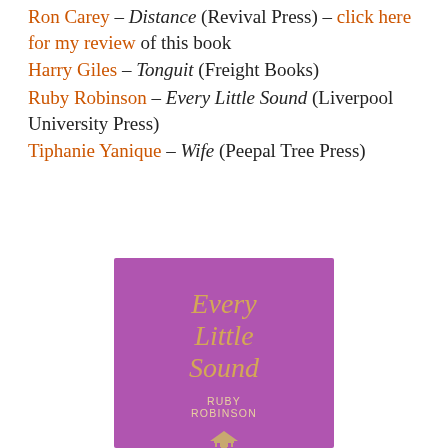Ron Carey – Distance (Revival Press) – click here for my review of this book
Harry Giles – Tonguit (Freight Books)
Ruby Robinson – Every Little Sound (Liverpool University Press)
Tiphanie Yanique – Wife (Peepal Tree Press)
[Figure (photo): Book cover of 'Every Little Sound' by Ruby Robinson published by Liverpool University Press. Purple/magenta background with gold italic title text 'Every Little Sound' and author name 'RUBY ROBINSON' in small caps below. A small publisher logo (columned building) at the bottom.]